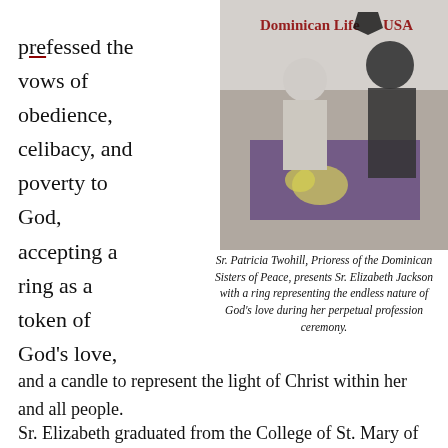pressed the vows of obedience, celibacy, and poverty to God, accepting a ring as a token of God's love,
[Figure (photo): Two women at a ceremony; one presenting a ring to the other at a purple-draped table with flowers. A 'Dominican Life USA' watermark/logo appears at the top of the photo.]
Sr. Patricia Twohill, Prioress of the Dominican Sisters of Peace, presents Sr. Elizabeth Jackson with a ring representing the endless nature of God's love during her perpetual profession ceremony.
and a candle to represent the light of Christ within her and all people.
Sr. Elizabeth graduated from the College of St. Mary of the Springs (now Ohio Dominican University) in 1965 and from St. Louis University School of Medicine in 1975. As a